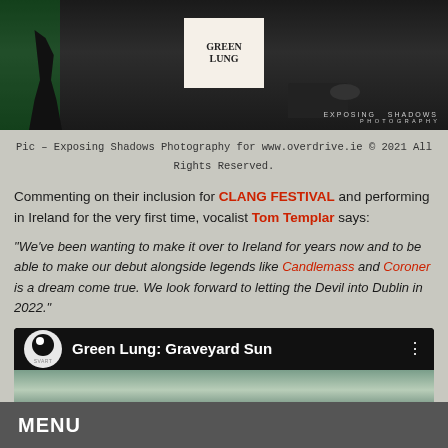[Figure (photo): Concert photo of Green Lung performing on stage with a Green Lung banner in the background and green lighting. Watermark reads EXPOSING SHADOWS PHOTOGRAPHY.]
Pic – Exposing Shadows Photography for www.overdrive.ie © 2021 All Rights Reserved.
Commenting on their inclusion for CLANG FESTIVAL and performing in Ireland for the very first time, vocalist Tom Templar says:
"We've been wanting to make it over to Ireland for years now and to be able to make our debut alongside legends like Candlemass and Coroner is a dream come true. We look forward to letting the Devil into Dublin in 2022."
[Figure (screenshot): YouTube video embed showing Green Lung: Graveyard Sun with Svart Records logo, video thumbnail with misty/foggy background]
MENU